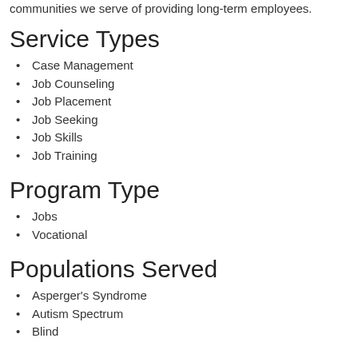communities we serve of providing long-term employees.
Service Types
Case Management
Job Counseling
Job Placement
Job Seeking
Job Skills
Job Training
Program Type
Jobs
Vocational
Populations Served
Asperger's Syndrome
Autism Spectrum
Blind